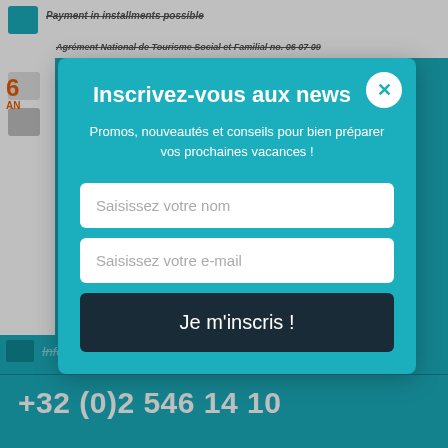Payment in installments possible
Agrément National de Tourisme Social et Familial no. 06 07 09
60 ANS
Inscrivez-vous aux news
Promos, nouveautés et conseils pour bien préparer vos prochaines vacances !
Saisissez votre nom
Saisissez votre e-mail
Je m'inscris !
Information and booking
+32 (0)2 546 14 10